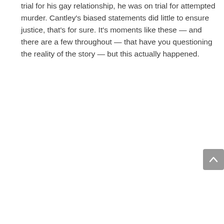trial for his gay relationship, he was on trial for attempted murder. Cantley's biased statements did little to ensure justice, that's for sure. It's moments like these — and there are a few throughout — that have you questioning the reality of the story — but this actually happened.
[Figure (other): Gray rounded-rectangle scroll-to-top button with an upward-pointing chevron arrow icon]